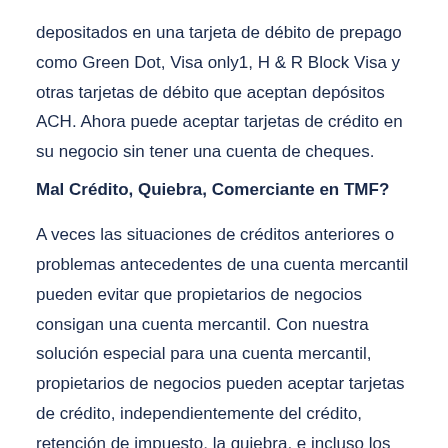depositados en una tarjeta de débito de prepago como Green Dot, Visa only1, H & R Block Visa y otras tarjetas de débito que aceptan depósitos ACH. Ahora puede aceptar tarjetas de crédito en su negocio sin tener una cuenta de cheques.
Mal Crédito, Quiebra, Comerciante en TMF?
A veces las situaciones de créditos anteriores o problemas antecedentes de una cuenta mercantil pueden evitar que propietarios de negocios consigan una cuenta mercantil. Con nuestra solución especial para una cuenta mercantil, propietarios de negocios pueden aceptar tarjetas de crédito, independientemente del crédito, retención de impuesto, la quiebra, e incluso los comerciantes en TMF.